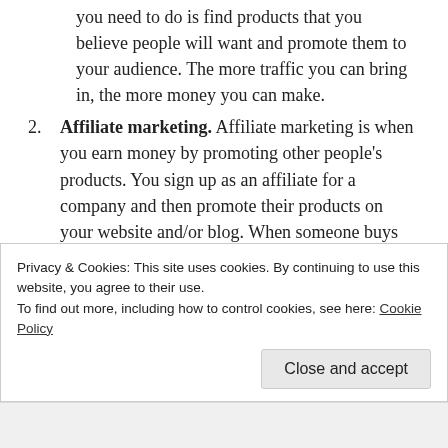you need to do is find products that you believe people will want and promote them to your audience. The more traffic you can bring in, the more money you can make.
2. Affiliate marketing. Affiliate marketing is when you earn money by promoting other people's products. You sign up as an affiliate for a company and then promote their products on your website and/or blog. When someone buys the product from the affiliate, you earn a commission.
3. Paid search advertising. Paid search advertising is when you pay an advertiser to place ads on
Privacy & Cookies: This site uses cookies. By continuing to use this website, you agree to their use.
To find out more, including how to control cookies, see here: Cookie Policy
Close and accept